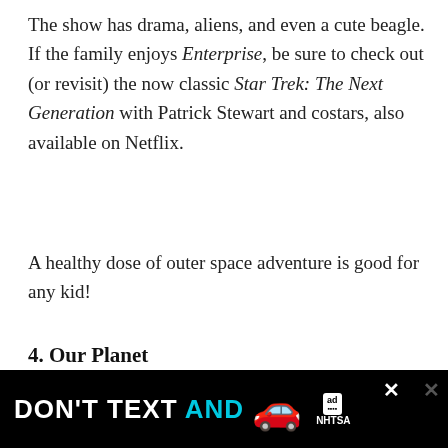The show has drama, aliens, and even a cute beagle. If the family enjoys Enterprise, be sure to check out (or revisit) the now classic Star Trek: The Next Generation with Patrick Stewart and costars, also available on Netflix.
A healthy dose of outer space adventure is good for any kid!
4. Our Planet
Nature documentaries are a favorite in our house and can be mesmerizing for younger viewers. T[cut off] ... views.
[Figure (other): Advertisement banner: DON'T TEXT AND [drive] — NHTSA ad with car emoji, close buttons]